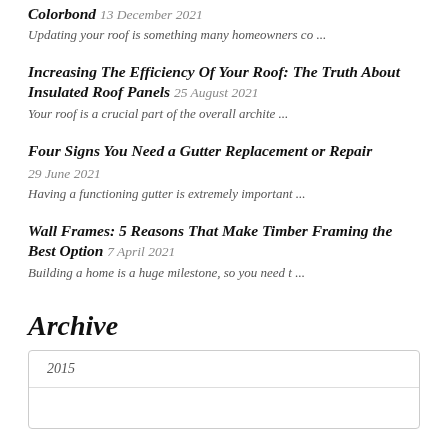Colorbond 13 December 2021
Updating your roof is something many homeowners co ...
Increasing The Efficiency Of Your Roof: The Truth About Insulated Roof Panels 25 August 2021
Your roof is a crucial part of the overall archite ...
Four Signs You Need a Gutter Replacement or Repair 29 June 2021
Having a functioning gutter is extremely important ...
Wall Frames: 5 Reasons That Make Timber Framing the Best Option 7 April 2021
Building a home is a huge milestone, so you need t ...
Archive
2015